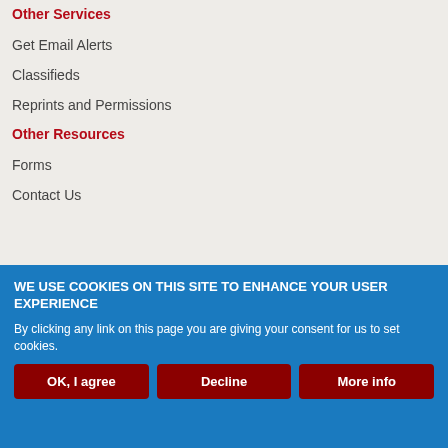Other Services
Get Email Alerts
Classifieds
Reprints and Permissions
Other Resources
Forms
Contact Us
[Figure (logo): American Board of Family Medicine seal/logo, circular shape with text around the border and an emblem in the center]
WE USE COOKIES ON THIS SITE TO ENHANCE YOUR USER EXPERIENCE
By clicking any link on this page you are giving your consent for us to set cookies.
OK, I agree
Decline
More info